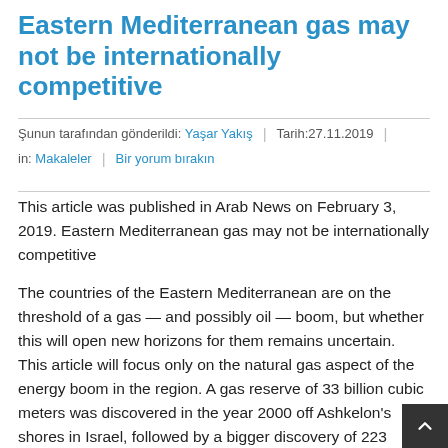Eastern Mediterranean gas may not be internationally competitive
Şunun tarafından gönderildi: Yaşar Yakış | Tarih:27.11.2019
in: Makaleler | Bir yorum bırakın
This article was published in Arab News on February 3, 2019. Eastern Mediterranean gas may not be internationally competitive
The countries of the Eastern Mediterranean are on the threshold of a gas — and possibly oil — boom, but whether this will open new horizons for them remains uncertain. This article will focus only on the natural gas aspect of the energy boom in the region. A gas reserve of 33 billion cubic meters was discovered in the year 2000 off Ashkelon's shores in Israel, followed by a bigger discovery of 223 billion cubic meters in 2009 at the Tamar field. A third discovery of 621 billion cubic meters was announced in the final days of 2010. The biggest discovery was at the Leviathan field, where commercial